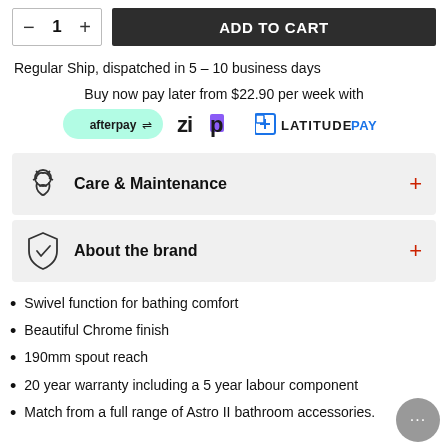[Figure (other): Quantity selector (minus, 1, plus) and dark ADD TO CART button]
Regular Ship, dispatched in 5 – 10 business days
Buy now pay later from $22.90 per week with
[Figure (logo): Afterpay, Zip, and Latitude Pay payment logos]
[Figure (other): Care & Maintenance accordion with hand-washing icon and red plus]
[Figure (other): About the brand accordion with shield/check icon and red plus]
Swivel function for bathing comfort
Beautiful Chrome finish
190mm spout reach
20 year warranty including a 5 year labour component
Match from a full range of Astro II bathroom accessories.